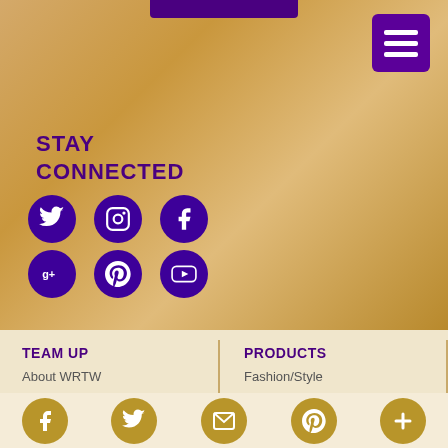[Figure (screenshot): Website screenshot showing Stay Connected section with social media icons (Twitter, Instagram, Facebook, Google+, Pinterest, YouTube) on a blurred beige/tan background, with a purple hamburger menu button top right, and footer columns for TEAM UP and PRODUCTS, plus bottom golden social icon bar.]
STAY CONNECTED
TEAM UP
About WRTW
PRODUCTS
Fashion/Style